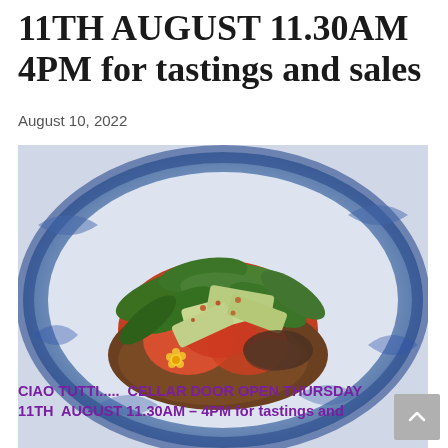11TH AUGUST 11.30AM 4PM for tastings and sales
August 10, 2022
[Figure (photo): A food dish served on a blue and white decorative plate, featuring green leaves (wild garlic or similar), grilled halloumi or cheese pieces with red spice seasoning, tomato chunks, and a small yellow flower, presented as an artful dish.]
CIAO TUTTI.....  CELLAR DOOR OPEN THURSDAY 11TH  AUGUST 11.30AM – 4PM for tastings and